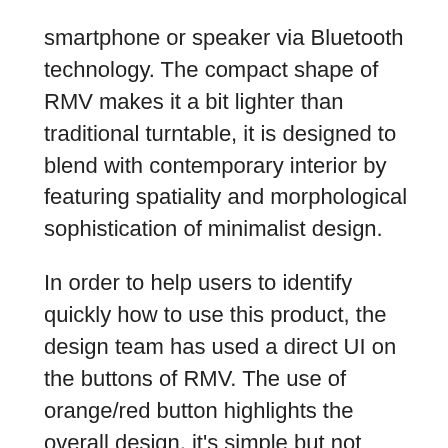smartphone or speaker via Bluetooth technology. The compact shape of RMV makes it a bit lighter than traditional turntable, it is designed to blend with contemporary interior by featuring spatiality and morphological sophistication of minimalist design.
In order to help users to identify quickly how to use this product, the design team has used a direct UI on the buttons of RMV. The use of orange/red button highlights the overall design, it's simple but not another mundane black and white device. RMV infuses digital technology into existing turntable's tone arm movement method, it provides digital touch to the conventional analog where it works together in harmony. For more functions, you can check buttons on the top part.
Each unit comes with a built-in stand to increase space